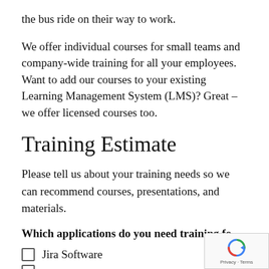the bus ride on their way to work.
We offer individual courses for small teams and company-wide training for all your employees. Want to add our courses to your existing Learning Management System (LMS)? Great – we offer licensed courses too.
Training Estimate
Please tell us about your training needs so we can recommend courses, presentations, and materials.
Which applications do you need training fo
Jira Software